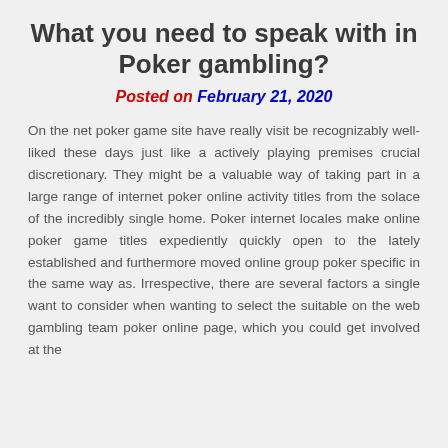What you need to speak with in Poker gambling?
Posted on February 21, 2020
On the net poker game site have really visit be recognizably well-liked these days just like a actively playing premises crucial discretionary. They might be a valuable way of taking part in a large range of internet poker online activity titles from the solace of the incredibly single home. Poker internet locales make online poker game titles expediently quickly open to the lately established and furthermore moved online group poker specific in the same way as. Irrespective, there are several factors a single want to consider when wanting to select the suitable on the web gambling team poker online page, which you could get involved at the